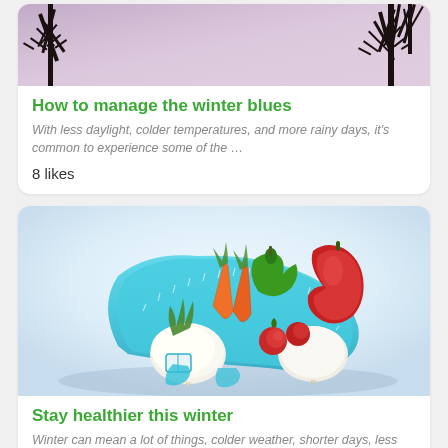[Figure (photo): Winter scene with tree silhouettes against a pale purple-grey sky]
How to manage the winter blues
With less daylight, colder temperatures, and more rainy days, it's common to experience some of the …
8 likes
[Figure (photo): Vegetables including carrots, tomatoes, green pepper, and white radishes wrapped with a blue measuring tape on a light blue background]
Stay healthier this winter
Winter can mean a lot of things, colder weather, shorter days, less sunlight, heavier food- all of t...
9 likes